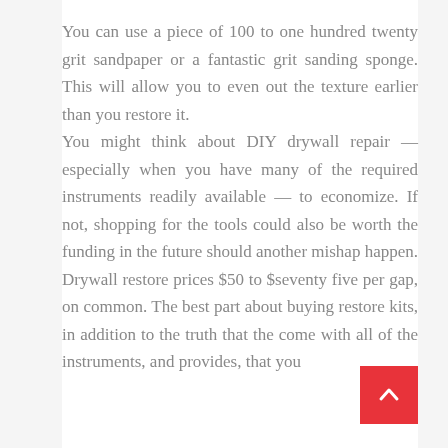You can use a piece of 100 to one hundred twenty grit sandpaper or a fantastic grit sanding sponge. This will allow you to even out the texture earlier than you restore it. You might think about DIY drywall repair — especially when you have many of the required instruments readily available — to economize. If not, shopping for the tools could also be worth the funding in the future should another mishap happen. Drywall restore prices $50 to $seventy five per gap, on common. The best part about buying restore kits, in addition to the truth that the come with all of the instruments, and provides, that you